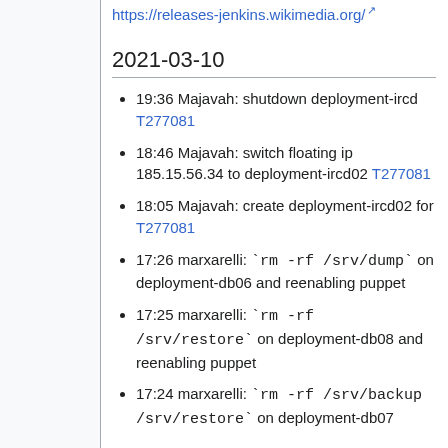https://releases-jenkins.wikimedia.org/
2021-03-10
19:36 Majavah: shutdown deployment-ircd T277081
18:46 Majavah: switch floating ip 185.15.56.34 to deployment-ircd02 T277081
18:05 Majavah: create deployment-ircd02 for T277081
17:26 marxarelli: `rm -rf /srv/dump` on deployment-db06 and reenabling puppet
17:25 marxarelli: `rm -rf /srv/restore` on deployment-db08 and reenabling puppet
17:24 marxarelli: `rm -rf /srv/backup /srv/restore` on deployment-db07